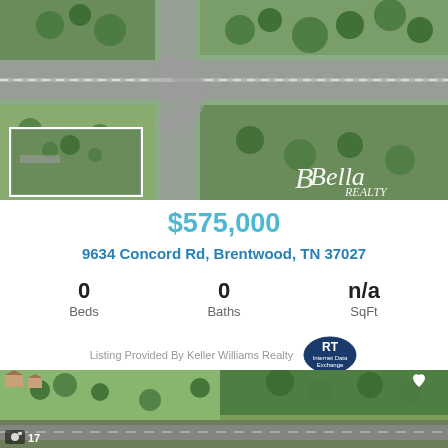[Figure (photo): Aerial satellite view of property at 9634 Concord Rd, Brentwood, TN with road interchange visible, small inset thumbnail of aerial photo in bottom-left corner, Bella logo in bottom-right]
$575,000
9634 Concord Rd, Brentwood, TN 37027
0 Beds   0 Baths   n/a SqFt
Listing Provided By Keller Williams Realty
[Figure (photo): Aerial drone photograph of a large open green field/land parcel with trees, roads visible including what appears to be Concord Rd, residential properties visible in the upper left, heart icon in the upper right, camera icon with '17' label in the lower left]